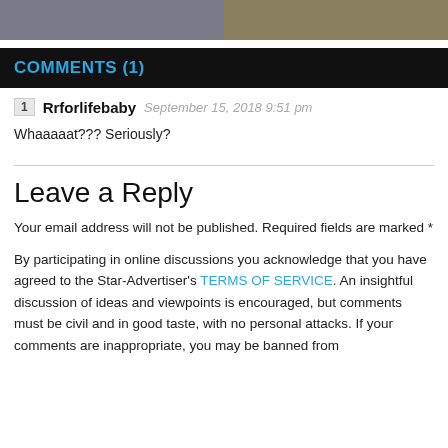[Figure (illustration): Top banner with anime-style illustration, two panels side by side]
COMMENTS (1)
1  Rrforlifebaby  September 15, 2018 9:51 pm
Whaaaaat??? Seriously?
Leave a Reply
Your email address will not be published. Required fields are marked *
By participating in online discussions you acknowledge that you have agreed to the Star-Advertiser's TERMS OF SERVICE. An insightful discussion of ideas and viewpoints is encouraged, but comments must be civil and in good taste, with no personal attacks. If your comments are inappropriate, you may be banned from